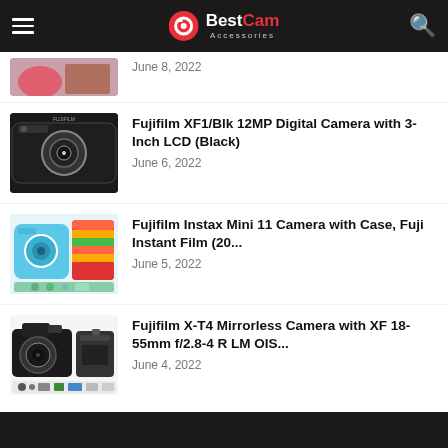BestCam Accessories
Fujifilm XF1/Blk 12MP Digital Camera with 3-Inch LCD (Black) — June 6, 2022
Fujifilm Instax Mini 11 Camera with Case, Fuji Instant Film (20... — June 5, 2022
Fujifilm X-T4 Mirrorless Camera with XF 18-55mm f/2.8-4 R LM OIS... — June 4, 2022